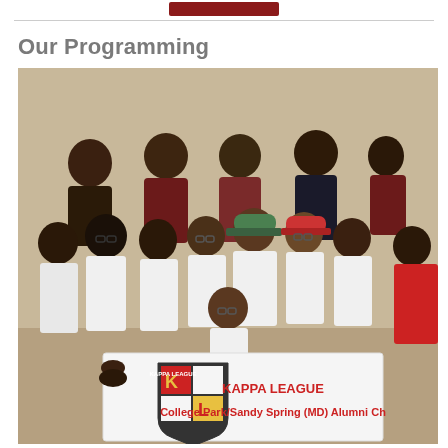Our Programming
[Figure (photo): Group photo of young men and adult mentors holding a Kappa League banner reading 'College Park/Sandy Spring (MD) Alumni Ch'. The banner features the Kappa League shield logo with K and L letters in red and gold. A diverse group of teenage boys in white shirts and adult men in maroon/dark shirts pose together indoors.]